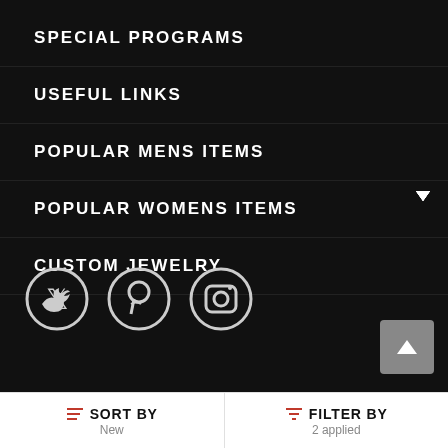SPECIAL PROGRAMS
USEFUL LINKS
POPULAR MENS ITEMS
POPULAR WOMENS ITEMS
CUSTOM JEWELRY
[Figure (illustration): Social media icons: Twitter, Pinterest, Instagram in circle outlines on dark background]
SORT BY New
FILTER BY 2 applied